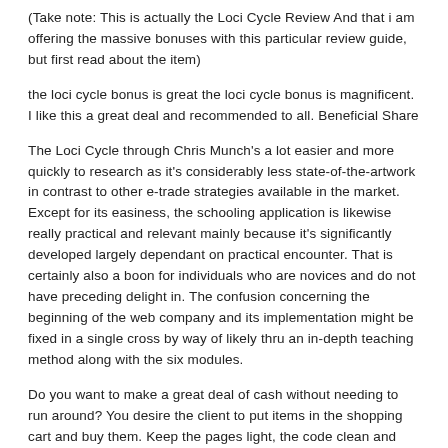(Take note: This is actually the Loci Cycle Review And that i am offering the massive bonuses with this particular review guide, but first read about the item)
the loci cycle bonus is great the loci cycle bonus is magnificent. I like this a great deal and recommended to all. Beneficial Share
The Loci Cycle through Chris Munch's a lot easier and more quickly to research as it's considerably less state-of-the-artwork in contrast to other e-trade strategies available in the market. Except for its easiness, the schooling application is likewise really practical and relevant mainly because it's significantly developed largely dependant on practical encounter. That is certainly also a boon for individuals who are novices and do not have preceding delight in. The confusion concerning the beginning of the web company and its implementation might be fixed in a single cross by way of likely thru an in-depth teaching method along with the six modules.
Do you want to make a great deal of cash without needing to run around? You desire the client to put items in the shopping cart and buy them. Keep the pages light, the code clean and make sure the hosting suffices for the traffic.